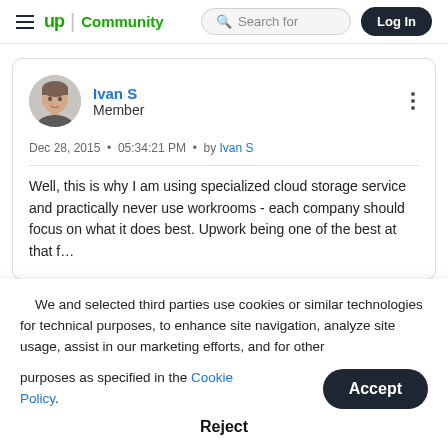up Community | Search for | Log In
Ivan S
Member
Dec 28, 2015 • 05:34:21 PM • by Ivan S
Well, this is why I am using specialized cloud storage service and practically never use workrooms - each company should focus on what it does best. Upwork being one of the best at that...
We and selected third parties use cookies or similar technologies for technical purposes, to enhance site navigation, analyze site usage, assist in our marketing efforts, and for other purposes as specified in the Cookie Policy.
Accept
Reject